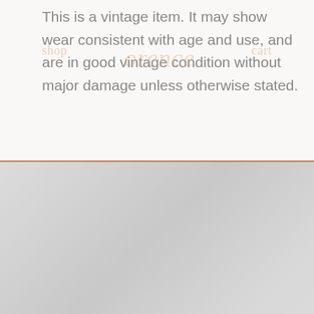This is a vintage item. It may show wear consistent with age and use, and are in good vintage condition without major damage unless otherwise stated.
shop   orence   cart
[Figure (photo): Product image area with light gray gradient background and an orange/terracotta curved element visible at the bottom left corner]
€34
sold
hipping above €150 for benelux, germany and france   f